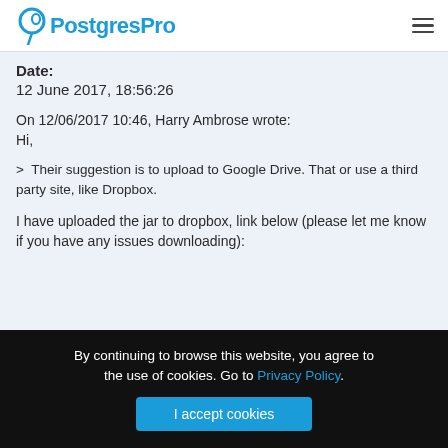PostgresPro
Date:
12 June 2017, 18:56:26
On 12/06/2017 10:46, Harry Ambrose wrote:
Hi,
> Their suggestion is to upload to Google Drive. That or use a third party site, like Dropbox.
I have uploaded the jar to dropbox, link below (please let me know if you have any issues downloading):
By continuing to browse this website, you agree to the use of cookies. Go to Privacy Policy.
I accept cookies